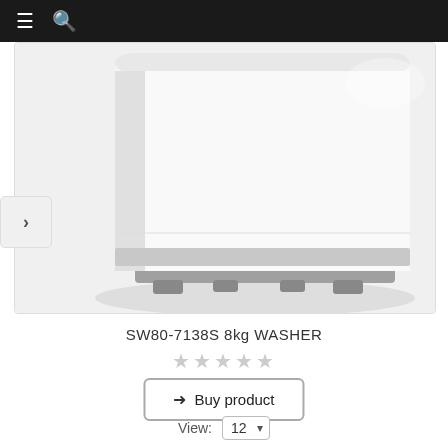Navigation bar with menu and search icons
[Figure (photo): A white top-loading washing machine (SW80-7138S 8kg Washer) shown from the lower front angle, with gray plastic base and feet, white body, set against a light gray background.]
SW80-7138S 8kg WASHER
★★★★★ (star rating, all empty/gray)
➨  Buy product
View:  12